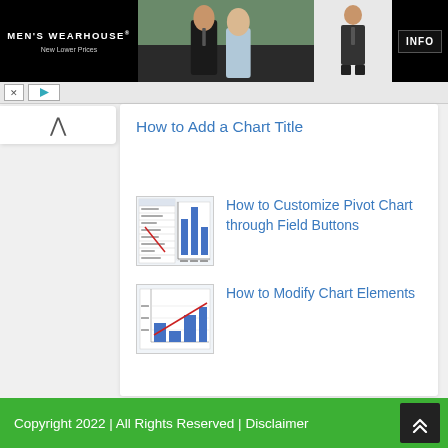[Figure (photo): Men's Wearhouse advertisement banner showing a couple in formal wear and a man in a suit, with INFO button]
How to Add a Chart Title
[Figure (screenshot): Thumbnail screenshot of Excel pivot chart with field buttons]
How to Customize Pivot Chart through Field Buttons
[Figure (screenshot): Thumbnail screenshot of Excel bar chart with trend line]
How to Modify Chart Elements
Copyright 2022 | All Rights Reserved | Disclaimer